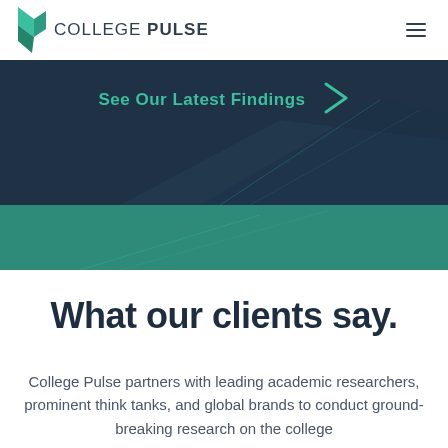COLLEGE PULSE
[Figure (screenshot): College Pulse website banner with dark navy background showing 'See Our Latest Findings' call-to-action with teal arrow, followed by a teal diagonal section]
What our clients say.
College Pulse partners with leading academic researchers, prominent think tanks, and global brands to conduct ground-breaking research on the college